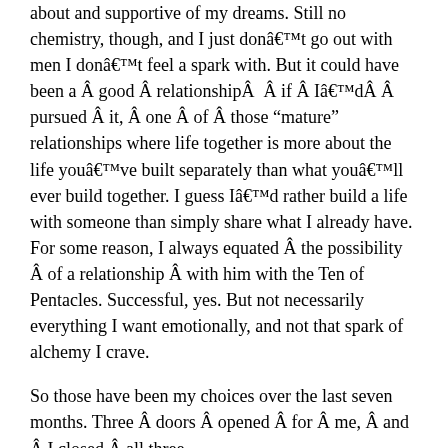about and supportive of my dreams. Still no chemistry, though, and I just donât go out with men I donât feel a spark with. But it could have been a Â good Â relationshipÂ  Â if Â IâdÂ Â pursued Â it, Â one Â of Â those “mature” relationships where life together is more about the life youâve built separately than what youâll ever build together. I guess Iâd rather build a life with someone than simply share what I already have. For some reason, I always equated Â the possibility Â of a relationship Â with him with the Ten of Pentacles. Successful, yes. But not necessarily everything I want emotionally, and not that spark of alchemy I crave.
So those have been my choices over the last seven months. Three Â doors Â opened Â for Â me, Â and Â I closed Â all three.
Door #1 would probably have brought me something